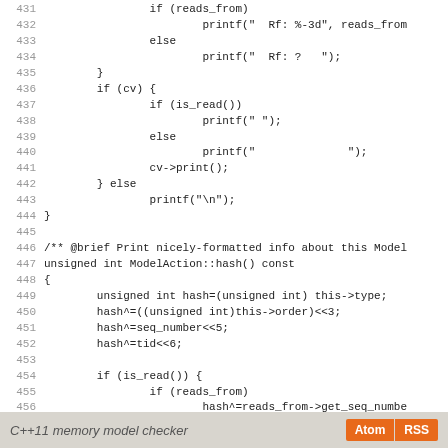Code listing lines 431-459 showing C++ ModelAction functions
C++11 memory model checker  Atom  RSS